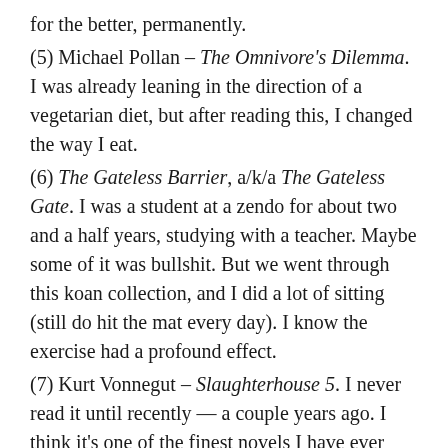for the better, permanently.
(5) Michael Pollan – The Omnivore's Dilemma. I was already leaning in the direction of a vegetarian diet, but after reading this, I changed the way I eat.
(6) The Gateless Barrier, a/k/a The Gateless Gate. I was a student at a zendo for about two and a half years, studying with a teacher. Maybe some of it was bullshit. But we went through this koan collection, and I did a lot of sitting (still do hit the mat every day). I know the exercise had a profound effect.
(7) Kurt Vonnegut – Slaughterhouse 5. I never read it until recently — a couple years ago. I think it's one of the finest novels I have ever read.
(8) Haruki Murakami – 1Q84. It isn't just this novel, but that it introduced me to this writer and I went on to read several more of his books. You talk about a work of fiction grabbing you in the first few pages. This one